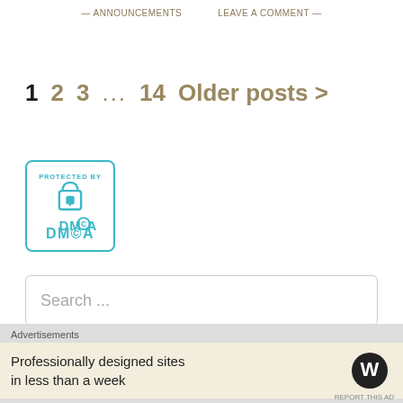ANNOUNCEMENTS   LEAVE A COMMENT
1  2  3  ...  14  Older posts >
[Figure (logo): DMCA protected badge with lock icon and teal border]
Search ...
Search
Advertisements
Professionally designed sites in less than a week